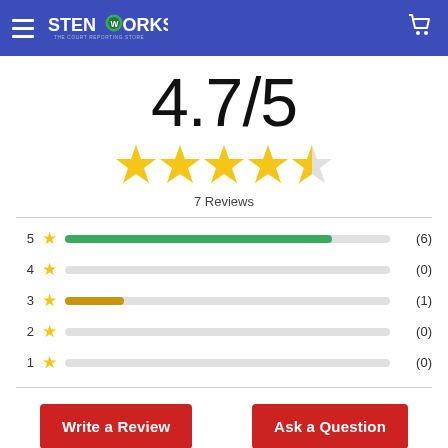StenoWorks - The Court Reporting Store
4.7/5
[Figure (other): 4.7 out of 5 stars rating display with 4 full gold stars and 1 half gold star]
7 Reviews
[Figure (bar-chart): Rating distribution]
Write a Review
Ask a Question